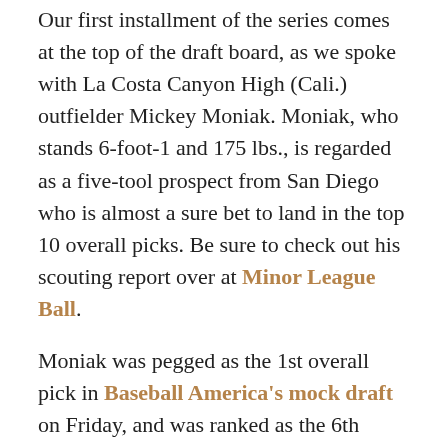Our first installment of the series comes at the top of the draft board, as we spoke with La Costa Canyon High (Cali.) outfielder Mickey Moniak. Moniak, who stands 6-foot-1 and 175 lbs., is regarded as a five-tool prospect from San Diego who is almost a sure bet to land in the top 10 overall picks. Be sure to check out his scouting report over at Minor League Ball.
Moniak was pegged as the 1st overall pick in Baseball America's mock draft on Friday, and was ranked as the 6th overall pick by both MLB.com and ESPN.com's latest predictions. He spoke at length with MLBDD Tuesday night:
When did you first get into baseball as a kid and realize this was something you would be passionate about?